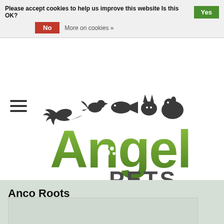Please accept cookies to help us improve this website Is this OK? Yes No More on cookies »
[Figure (logo): Angell Pets logo with green stylized text 'Angell' and 'PETS' in dark gray, with animal silhouettes (lizard, bird, fish, cat, hamster) above the text and a paw print inside the letter 'e']
Anco Roots
HOME / ANCO ROOTS